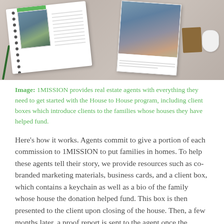[Figure (photo): A flat-lay photo showing a spiral-bound booklet with a family photo on the cover and a green bar at top, alongside a printed photo card of a family, a pencil, a clipboard, and a computer mouse on a desk surface.]
Image: 1MISSION provides real estate agents with everything they need to get started with the House to House program, including client boxes which introduce clients to the families whose houses they have helped fund.
Here’s how it works. Agents commit to give a portion of each commission to 1MISSION to put families in homes. To help these agents tell their story, we provide resources such as co-branded marketing materials, business cards, and a client box, which contains a keychain as well as a bio of the family whose house the donation helped fund. This box is then presented to the client upon closing of the house. Then, a few months later, a proof report is sent to the agent once the family’s house has been completed